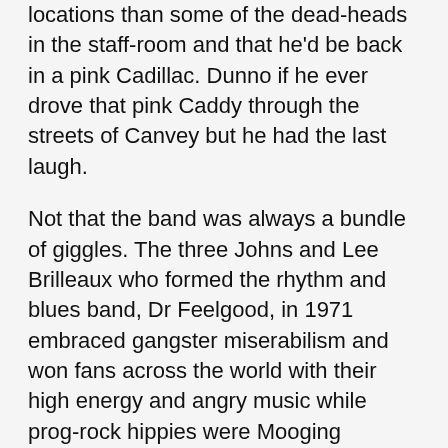locations than some of the dead-heads in the staff-room and that he'd be back in a pink Cadillac. Dunno if he ever drove that pink Caddy through the streets of Canvey but he had the last laugh.
Not that the band was always a bundle of giggles. The three Johns and Lee Brilleaux who formed the rhythm and blues band, Dr Feelgood, in 1971 embraced gangster miserabilism and won fans across the world with their high energy and angry music while prog-rock hippies were Mooging themselves into cosmic oblivion. The freshly shorn Wilko and frontman Brilleaux held audiences mesmerised and won over the New Musical Express even before they'd been signed. Not one but two massively talented divas in the band meant the social divide between sensitive moody Wilko (who'd charge up on speed and spend tour evenings in his room writing the album) versus the pisshead contingent (everyone else) turned into a chasm and an eventual split.
The film splices current interviews with documentary footage and witty movie clips telling the story of the Feelgoods and their huge influence on popular music, defining British pub culture, affecting flash limo American rock...